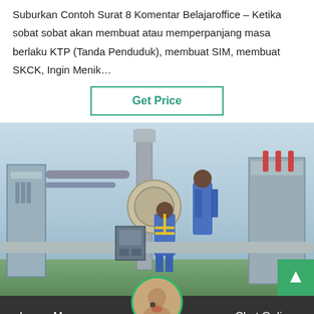Suburkan Contoh Surat 8 Komentar Belajaroffice – Ketika sobat sobat akan membuat atau memperpanjang masa berlaku KTP (Tanda Penduduk), membuat SIM, membuat SKCK, Ingin Menik…
[Figure (other): A 'Get Price' button with teal/green border and text]
[Figure (photo): Workers in blue coveralls performing maintenance on industrial electrical transformer equipment outdoors]
Leave Message
Chat Online